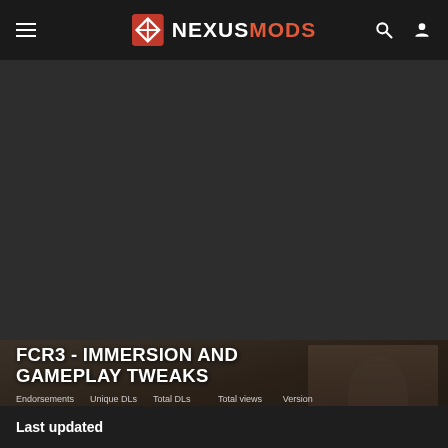NEXUSMODS
[Figure (screenshot): Dark hero/banner area showing a dim game scene backdrop for a Far Cry 3 mod page]
FCR3 - IMMERSION AND GAMEPLAY TWEAKS
Endorsements 3,908 | Unique DLs 87,542 | Total DLs 265,319 | Total views 951,973 | Version 0.34
Last updated